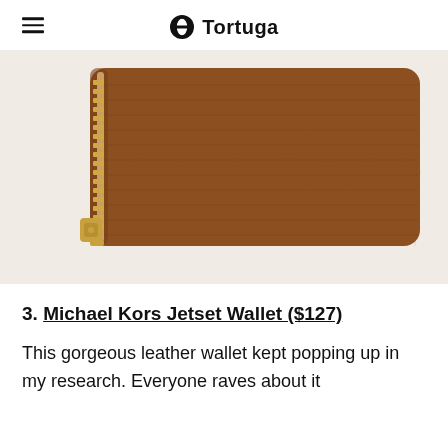Tortuga
[Figure (photo): Close-up product photo of a brown leather Michael Kors Jetset wallet with gold zipper, shown at an angle on a light background.]
3. Michael Kors Jetset Wallet ($127)
This gorgeous leather wallet kept popping up in my research. Everyone raves about it